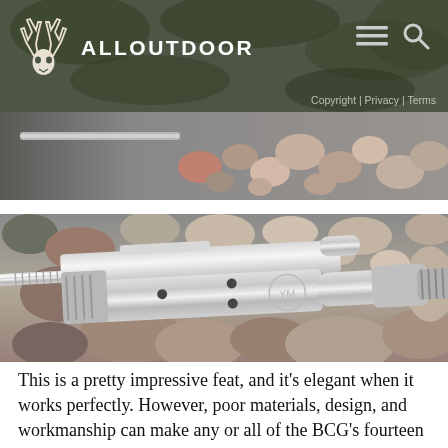ALLOUTDOOR
Copyright | Privacy | Terms
[Figure (photo): Close-up strip of rocks and a rifle component partially visible]
[Figure (photo): Close-up photo of a polished stainless steel AR-15 bolt carrier group (BCG) resting on colorful river rocks/gravel]
This is a pretty impressive feat, and it's elegant when it works perfectly. However, poor materials, design, and workmanship can make any or all of the BCG's fourteen